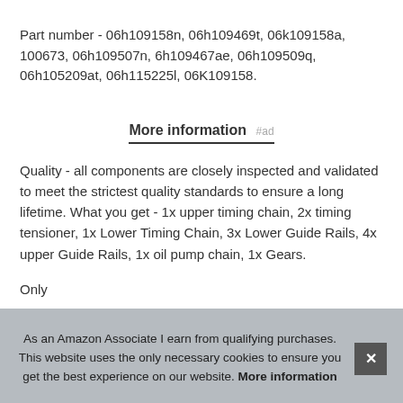Part number - 06h109158n, 06h109469t, 06k109158a, 100673, 06h109507n, 6h109467ae, 06h109509q, 06h105209at, 06h115225l, 06K109158.
More information #ad
Quality - all components are closely inspected and validated to meet the strictest quality standards to ensure a long lifetime. What you get - 1x upper timing chain, 2x timing tensioner, 1x Lower Timing Chain, 3x Lower Guide Rails, 4x upper Guide Rails, 1x oil pump chain, 1x Gears.
Only [partially obscured text]
As an Amazon Associate I earn from qualifying purchases. This website uses the only necessary cookies to ensure you get the best experience on our website. More information